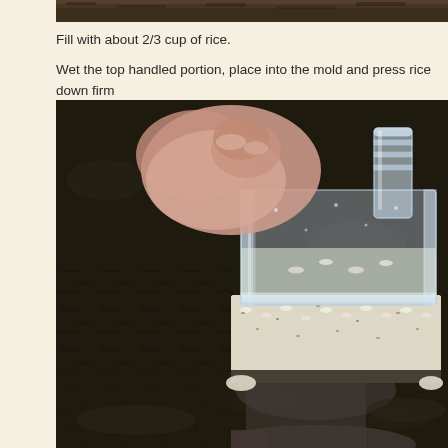[Figure (photo): Top edge of a food/sushi preparation photo showing seaweed (nori) and rice]
Fill with about 2/3 cup of rice.
Wet the top handled portion, place into the mold and press rice down firm
[Figure (photo): Close-up photo of a clear plastic sushi rice mold being pressed down onto rice on a nori (seaweed) sheet. A hand is visible pressing the transparent handle. Rice with green herbs/sesame is visible inside the mold, set on dark nori against a light purple background.]